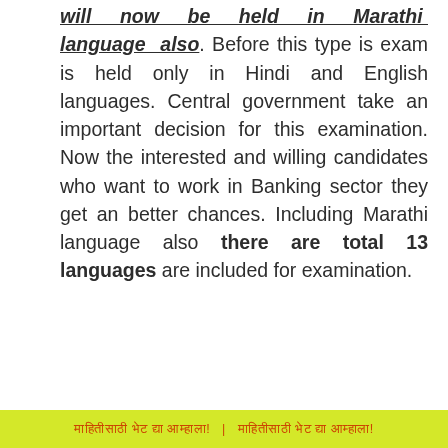will now be held in Marathi language also. Before this type is exam is held only in Hindi and English languages. Central government take an important decision for this examination. Now the interested and willing candidates who want to work in Banking sector they get an better chances. Including Marathi language also there are total 13 languages are included for examination.
माहितीसाठी भेट द्या आम्हाला! | माहितीसाठी भेट द्या आम्हाला!